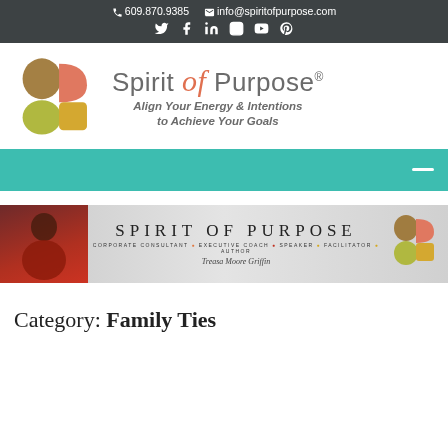📞 609.870.9385   ✉ info@spiritofpurpose.com
[Figure (logo): Spirit of Purpose logo with stylized S symbol in brown, salmon, olive, and gold, and tagline 'Align Your Energy & Intentions to Achieve Your Goals']
[Figure (screenshot): Teal navigation bar with hamburger menu icon]
[Figure (photo): Spirit of Purpose banner with person in red jacket on left, 'SPIRIT OF PURPOSE' text in center, and logo on right. Subtitle: CORPORATE CONSULTANT • EXECUTIVE COACH • SPEAKER • FACILITATOR • AUTHOR. Signature: Treasa Moore Griffin]
Category: Family Ties